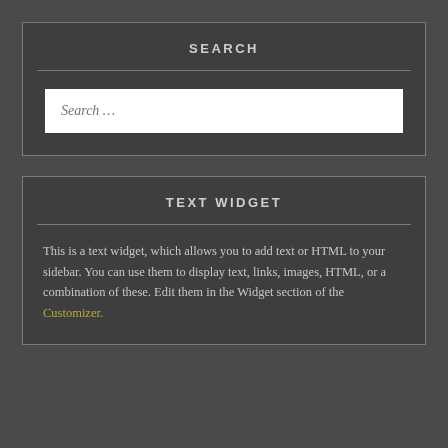SEARCH
Search …
TEXT WIDGET
This is a text widget, which allows you to add text or HTML to your sidebar. You can use them to display text, links, images, HTML, or a combination of these. Edit them in the Widget section of the Customizer.